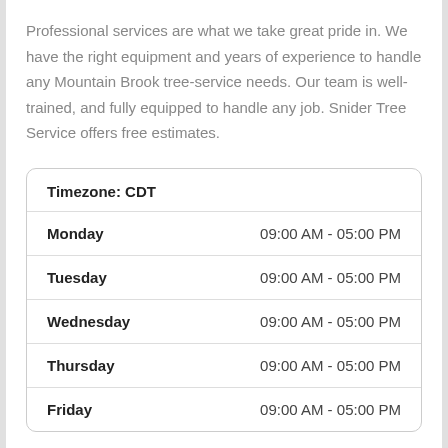Professional services are what we take great pride in. We have the right equipment and years of experience to handle any Mountain Brook tree-service needs. Our team is well-trained, and fully equipped to handle any job. Snider Tree Service offers free estimates.
| Day | Hours |
| --- | --- |
| Timezone: CDT |  |
| Monday | 09:00 AM - 05:00 PM |
| Tuesday | 09:00 AM - 05:00 PM |
| Wednesday | 09:00 AM - 05:00 PM |
| Thursday | 09:00 AM - 05:00 PM |
| Friday | 09:00 AM - 05:00 PM |